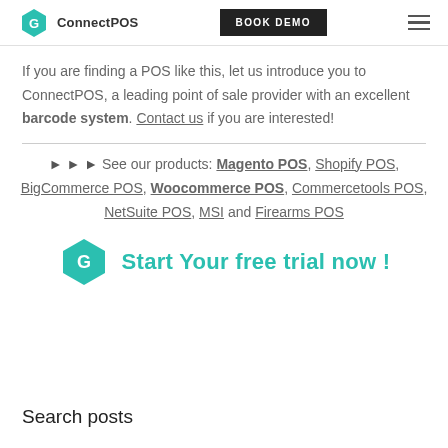ConnectPOS | BOOK DEMO
If you are finding a POS like this, let us introduce you to ConnectPOS, a leading point of sale provider with an excellent barcode system. Contact us if you are interested!
►►► See our products: Magento POS, Shopify POS, BigCommerce POS, Woocommerce POS, Commercetools POS, NetSuite POS, MSI and Firearms POS
[Figure (logo): ConnectPOS hexagon logo with teal color and letter G, followed by text 'Start Your free trial now !']
Search posts